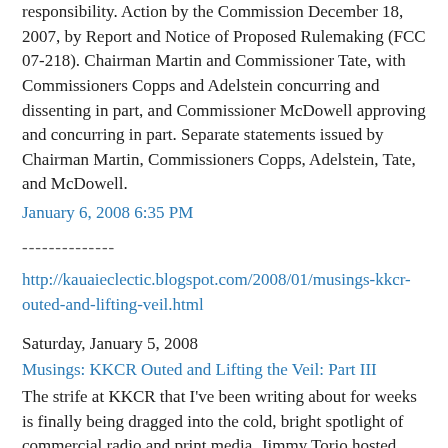responsibility. Action by the Commission December 18, 2007, by Report and Notice of Proposed Rulemaking (FCC 07-218). Chairman Martin and Commissioner Tate, with Commissioners Copps and Adelstein concurring and dissenting in part, and Commissioner McDowell approving and concurring in part. Separate statements issued by Chairman Martin, Commissioners Copps, Adelstein, Tate, and McDowell.
January 6, 2008 6:35 PM
--------------
http://kauaieclectic.blogspot.com/2008/01/musings-kkcr-outed-and-lifting-veil.html
Saturday, January 5, 2008
Musings: KKCR Outed and Lifting the Veil: Part III
The strife at KKCR that I've been writing about for weeks is finally being dragged into the cold, bright spotlight of commercial radio and print media. Jimmy Torio hosted disgruntled KKCR programmers on his KQNG radio show